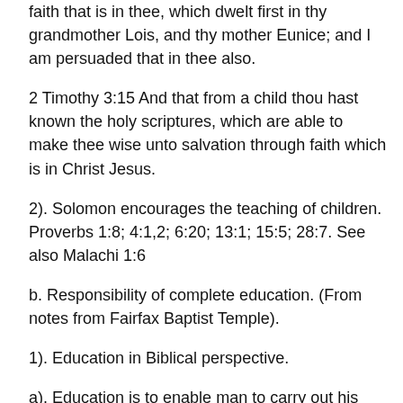faith that is in thee, which dwelt first in thy grandmother Lois, and thy mother Eunice; and I am persuaded that in thee also.
2 Timothy 3:15 And that from a child thou hast known the holy scriptures, which are able to make thee wise unto salvation through faith which is in Christ Jesus.
2). Solomon encourages the teaching of children. Proverbs 1:8; 4:1,2; 6:20; 13:1; 15:5; 28:7. See also Malachi 1:6
b. Responsibility of complete education. (From notes from Fairfax Baptist Temple).
1). Education in Biblical perspective.
a). Education is to enable man to carry out his purpose on Earth and in eternity.